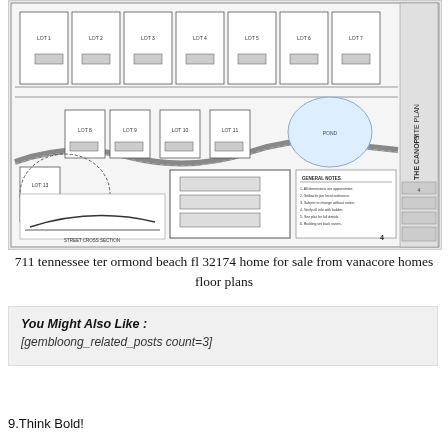[Figure (schematic): Site/subdivision plan drawing labeled 'The Canopy', showing lot layout with numbered lots, roads, a pond, cross-section diagram, and legend. Sheet number 4 visible in lower right.]
711 tennessee ter ormond beach fl 32174 home for sale from vanacore homes floor plans
You Might Also Like :
[gembloong_related_posts count=3]
9.Think Bold!